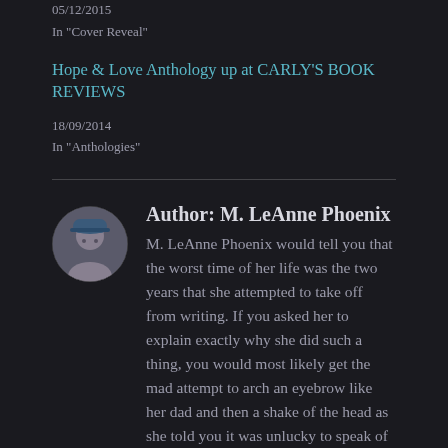05/12/2015
In "Cover Reveal"
Hope & Love Anthology up at CARLY'S BOOK REVIEWS
18/09/2014
In "Anthologies"
Author: M. LeAnne Phoenix
[Figure (photo): Circular avatar photo of author M. LeAnne Phoenix wearing a cap]
M. LeAnne Phoenix would tell you that the worst time of her life was the two years that she attempted to take off from writing. If you asked her to explain exactly why she did such a thing, you would most likely get the mad attempt to arch an eyebrow like her dad and then a shake of the head as she told you it was unlucky to speak of such things. Suffice it to say, it will never happen again! Born and raised in Fort Worth, Texas in the mid-1970's,